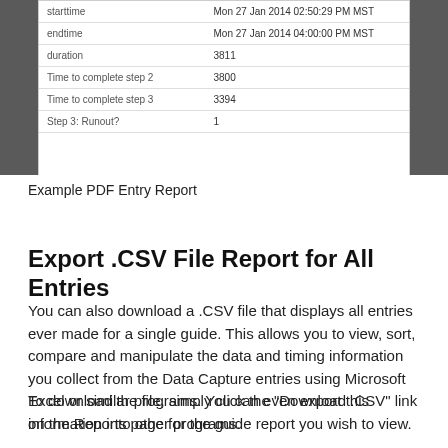[Figure (screenshot): Screenshot of a PDF Entry Report table showing fields: starttime (Mon 27 Jan 2014 02:50:29 PM MST), endtime (Mon 27 Jan 2014 04:00:00 PM MST), duration (3811), Time to complete step 2 (3800), Time to complete step 3 (3394), Step 3: Runout? (1), with gray side panels]
Example PDF Entry Report
Export .CSV File Report for All Entries
You can also download a .CSV file that displays all entries ever made for a single guide. This allows you to view, sort, compare and manipulate the data and timing information you collect from the Data Capture entries using Microsoft Excel or similar programs. You can even export this information into other programs.
To download the file, simply click the "Download .CSV" link on the Reports page for the guide report you wish to view.